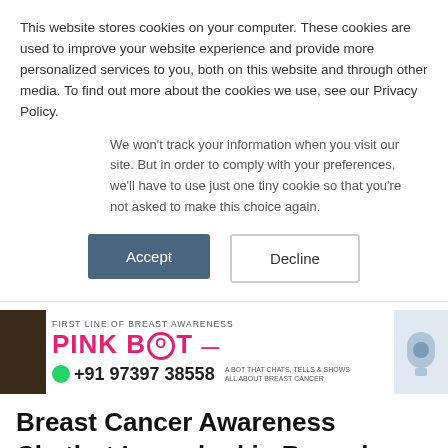This website stores cookies on your computer. These cookies are used to improve your website experience and provide more personalized services to you, both on this website and through other media. To find out more about the cookies we use, see our Privacy Policy.
We won't track your information when you visit our site. But in order to comply with your preferences, we'll have to use just one tiny cookie so that you're not asked to make this choice again.
Accept
Decline
[Figure (photo): Pink Bot breast cancer awareness chatbot banner with phone number +91 97397 38558]
Breast Cancer Awareness Chatbot Launched in Bangalore by Sri Ramakrishna Hospital
Posted on October 4, 2021 by Neilu Mittal
Breast Cancer Chatbot: On Friday, the Sri